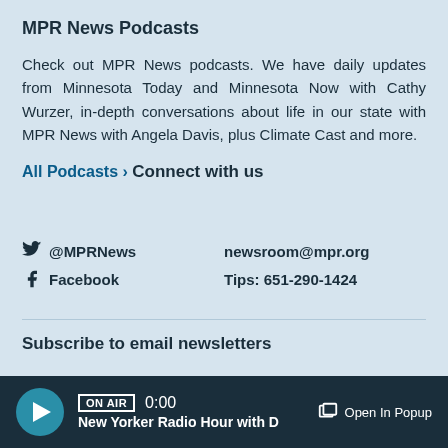MPR News Podcasts
Check out MPR News podcasts. We have daily updates from Minnesota Today and Minnesota Now with Cathy Wurzer, in-depth conversations about life in our state with MPR News with Angela Davis, plus Climate Cast and more.
All Podcasts ›
Connect with us
@MPRNews   newsroom@mpr.org
Facebook   Tips: 651-290-1424
Subscribe to email newsletters
ON AIR  0:00  New Yorker Radio Hour with D   Open In Popup